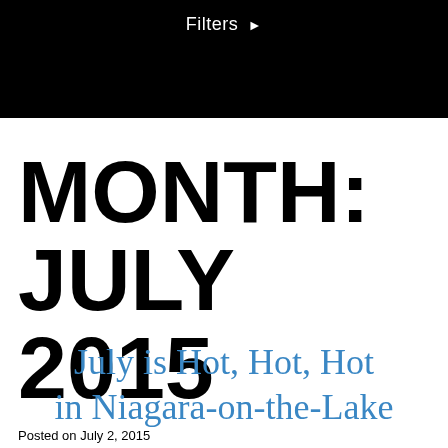Filters ▶
MONTH:
JULY 2015
July is Hot, Hot, Hot in Niagara-on-the-Lake
Posted on July 2, 2015